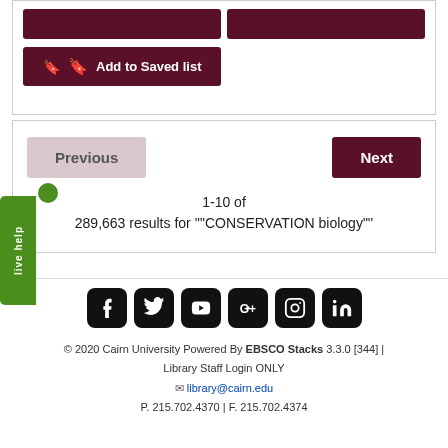[Figure (screenshot): Add to Saved list button (dark maroon) with bookmark icon, and two dark maroon action buttons above it in a card]
[Figure (screenshot): Pagination navigation with Previous (greyed out) and Next (dark maroon) buttons, showing '1-10 of 289,663 results for ""CONSERVATION biology""']
[Figure (screenshot): Social media icons row: Facebook, Twitter, YouTube, Google+, Instagram, LinkedIn (black rounded square icons)]
© 2020 Cairn University Powered By EBSCO Stacks 3.3.0 [344] | Library Staff Login ONLY
library@cairn.edu
P. 215.702.4370 | F. 215.702.4374